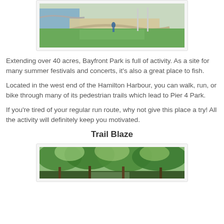[Figure (photo): Aerial or wide view of Bayfront Park showing green grass, a curved path, water edge, and a person jogging]
Extending over 40 acres, Bayfront Park is full of activity. As a site for many summer festivals and concerts, it's also a great place to fish.
Located in the west end of the Hamilton Harbour, you can walk, run, or bike through many of its pedestrian trails which lead to Pier 4 Park.
If you're tired of your regular run route, why not give this place a try! All the activity will definitely keep you motivated.
Trail Blaze
[Figure (photo): Dense green trees and foliage along a trail, likely showing a wooded running or hiking trail]